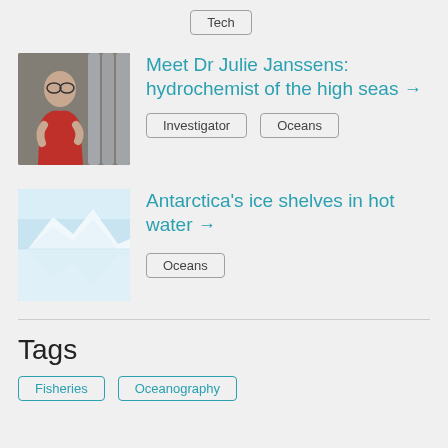Tech
[Figure (photo): Photo of Dr Julie Janssens, a woman wearing glasses and a red shirt, working with laboratory equipment]
Meet Dr Julie Janssens: hydrochemist of the high seas →
Investigator
Oceans
[Figure (photo): Photo of Antarctic ice shelves reflected in calm water under a pale blue sky]
Antarctica's ice shelves in hot water →
Oceans
Tags
Fisheries
Oceanography